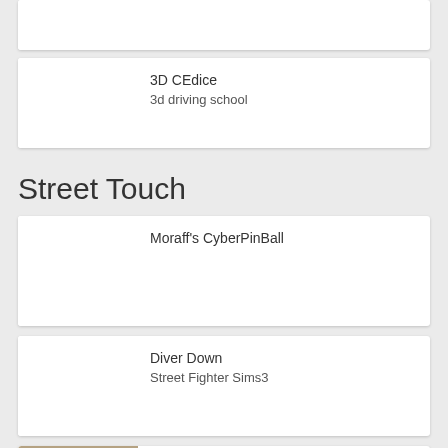[Figure (other): Partially visible card at top of page (cropped)]
3D CEdice
3d driving school
Street Touch
Moraff's CyberPinBall
Diver Down
Street Fighter Sims3
World of Cars